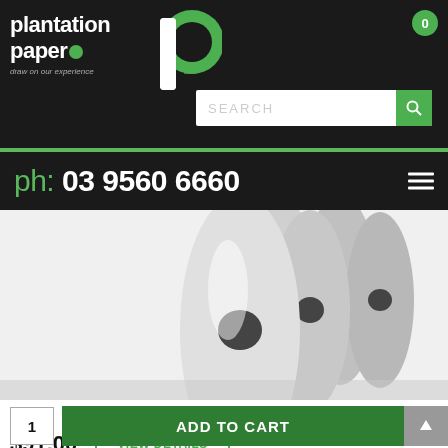[Figure (logo): Plantation Paper logo with green circular P icon and tagline 'draw on our experience' on dark background]
ph: 03 9560 6660
[Figure (photo): Multiple rolls of white bond paper standing on end, arranged in a row, viewed from the side on a white background]
A1 Bond roll 594mm x 150 metres
$91.00
VIEW DETAILS
1
ADD TO CART